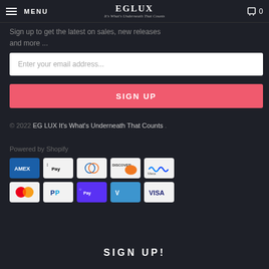MENU | EG LUX It's What's Underneath That Counts | 0
Sign up to get the latest on sales, new releases and more ...
Enter your email address...
SIGN UP
© 2022 EG LUX It's What's Underneath That Counts .
Powered by Shopify
[Figure (other): Payment method icons: American Express, Apple Pay, Diners Club, Discover, Meta Pay, Mastercard, PayPal, Shop Pay, Venmo, Visa]
SIGN UP!